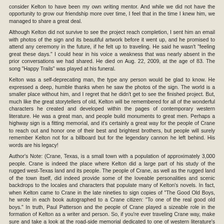consider Kelton to have been my own writing mentor. And while we did not have the opportunity to grow our friendship more over time, I feel that in the time I knew him, we managed to share a great deal.
Although Kelton did not survive to see the project reach completion, I sent him an email with photos of the sign and its beautiful artwork before it went up, and he promised to attend any ceremony in the future, if he felt up to traveling. He said he wasn't "feeling great these days." I could hear in his voice a weakness that was nearly absent in the prior conversations we had shared. He died on Aug. 22, 2009, at the age of 83. The song "Happy Trails" was played at his funeral.
Kelton was a self-deprecating man, the type any person would be glad to know. He expressed a deep, humble thanks when he saw the photos of the sign. The world is a smaller place without him, and I regret that he didn't get to see the finished project. But, much like the great storytellers of old, Kelton will be remembered for all of the wonderful characters he created and developed within the pages of contemporary western literature. He was a great man, and people build monuments to great men. Perhaps a highway sign is a fitting memorial, and it's certainly a great way for the people of Crane to reach out and honor one of their best and brightest brothers, but people will surely remember Kelton not for a billboard but for the legendary cannon he left behind. His words are his legacy!
Author's Note: (Crane, Texas, is a small town with a population of approximately 3,000 people. Crane is indeed the place where Kelton did a large part of his study of the rugged west-Texas land and its people. The people of Crane, as well as the rugged land of the town itself, did indeed provide some of the loveable personalities and scenic backdrops to the locales and characters that populate many of Kelton's novels. In fact, when Kelton came to Crane in the late nineties to sign copies of "The Good Old Boys, he wrote in each book autographed to a Crane citizen: "To one of the real good old boys." In truth, Paul Patterson and the people of Crane played a sizeable role in the formation of Kelton as a writer and person. So, if you're ever traveling Crane way, make sure and take a look at the road-side memorial dedicated to one of western literature's greatest icons. And do take a moment to say "howdy" to the good folks of Crane!)
By Bradley D. Pettit
Midland, Texas